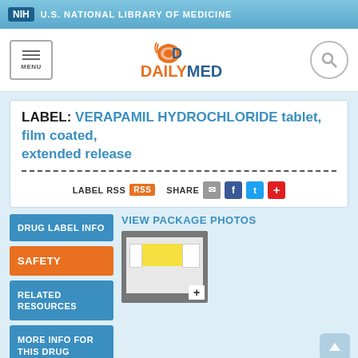NIH U.S. NATIONAL LIBRARY OF MEDICINE
[Figure (logo): DailyMed logo with orange capsule icon, orange DAILY and blue MED text]
LABEL: VERAPAMIL HYDROCHLORIDE tablet, film coated, extended release
LABEL RSS | SHARE
VIEW PACKAGE PHOTOS
[Figure (photo): Package photo thumbnail showing drug label with yellow section on gray background]
DRUG LABEL INFO
SAFETY
RELATED RESOURCES
MORE INFO FOR THIS DRUG